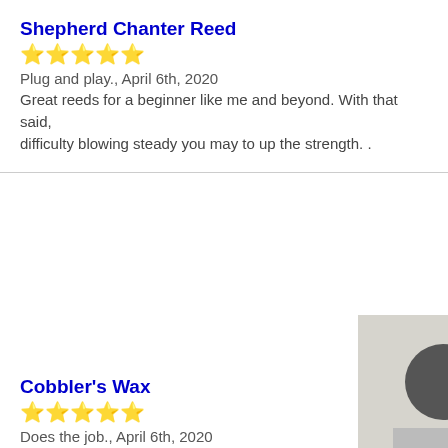Shepherd Chanter Reed
★★★★★
Plug and play., April 6th, 2020
Great reeds for a beginner like me and beyond. With that said, difficulty blowing steady you may to up the strength. .
[Figure (photo): Product image showing a dark circular object on a light/grey background, partially cropped at right edge]
Cobbler's Wax
★★★★★
Does the job., April 6th, 2020
Does what it's supposed to, not the greatest smelling stuff, but
[Figure (photo): Partial product image at bottom right, cropped]